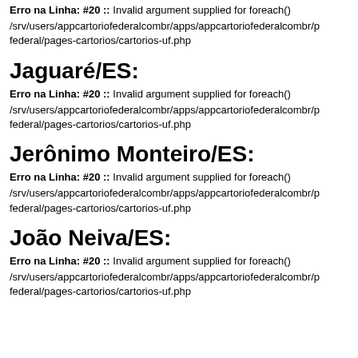Erro na Linha: #20 :: Invalid argument supplied for foreach() /srv/users/appcartoriofederalcombr/apps/appcartoriofederalcombr/p federal/pages-cartorios/cartorios-uf.php
Jaguaré/ES:
Erro na Linha: #20 :: Invalid argument supplied for foreach() /srv/users/appcartoriofederalcombr/apps/appcartoriofederalcombr/p federal/pages-cartorios/cartorios-uf.php
Jerônimo Monteiro/ES:
Erro na Linha: #20 :: Invalid argument supplied for foreach() /srv/users/appcartoriofederalcombr/apps/appcartoriofederalcombr/p federal/pages-cartorios/cartorios-uf.php
João Neiva/ES:
Erro na Linha: #20 :: Invalid argument supplied for foreach() /srv/users/appcartoriofederalcombr/apps/appcartoriofederalcombr/p federal/pages-cartorios/cartorios-uf.php